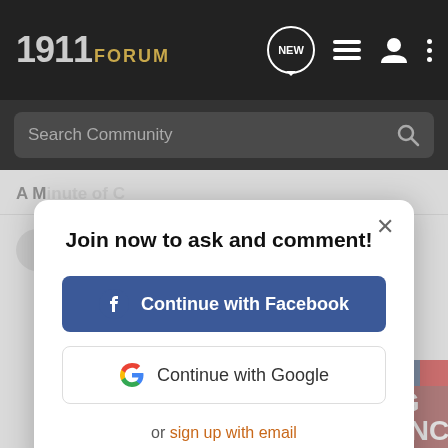1911 FORUM
Search Community
[Figure (screenshot): Modal dialog over forum page background with join prompt]
Join now to ask and comment!
Continue with Facebook
Continue with Google
or sign up with email
[Figure (infographic): Bass Pro Shops Bargain Cave Hunting Clearance advertisement banner with Shop Now button]